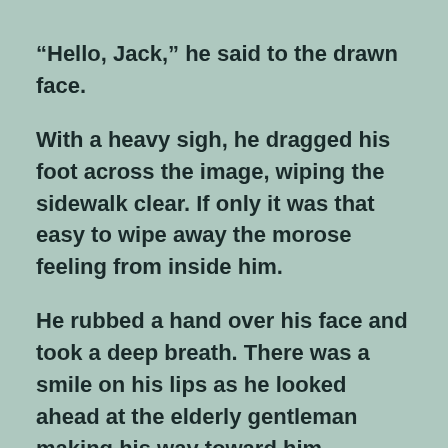“Hello, Jack,” he said to the drawn face.
With a heavy sigh, he dragged his foot across the image, wiping the sidewalk clear. If only it was that easy to wipe away the morose feeling from inside him.
He rubbed a hand over his face and took a deep breath. There was a smile on his lips as he looked ahead at the elderly gentleman making his way toward him.
“Too cruel?” he asked himself.